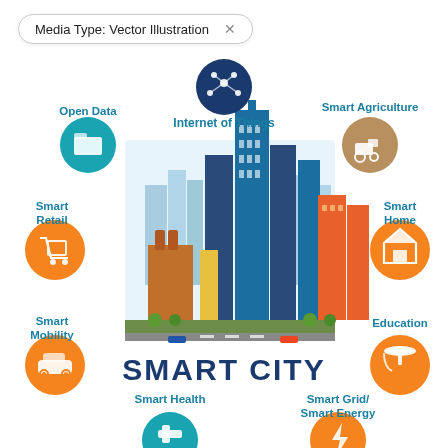Media Type: Vector Illustration ×
[Figure (infographic): Smart City infographic showing a city skyline in the center surrounded by labeled icon circles: Internet of Things (navy, top center), Open Data (teal, upper left), Smart Agriculture (brown, upper right), Smart Retail (orange, middle left), Smart Home (orange, middle right), Smart Mobility (orange, lower left), Education (orange, lower right), Smart Health (teal, bottom left, partially visible), Smart Grid/Smart Energy (orange, bottom right, partially visible). Text 'SMART CITY' appears below the skyline in large bold navy letters.]